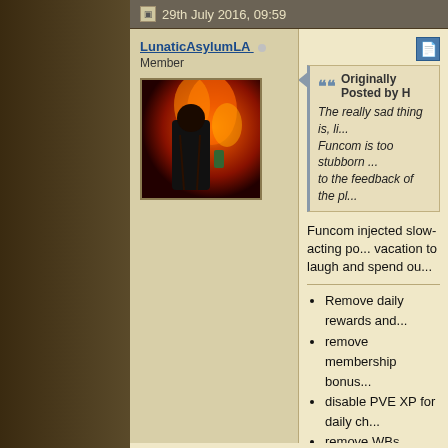29th July 2016, 09:59
LunaticAsylumLA (Member)
[Figure (illustration): Avatar image showing a dark-robed figure against flames/fire background]
Originally Posted by H
The really sad thing is, li... Funcom is too stubborn ... to the feedback of the pl...
Funcom injected slow-acting po... vacation to laugh and spend ou...
Remove daily rewards and...
remove membership bonus...
disable PVE XP for daily ch...
remove WBs forever on Cr...
slow down the AA gain;
lower the PVP XP gain or r...
remove AoE looting;
add the missing mobs back... Eigl. Mount.;
fix the 250+ms ping;
take the key away from Sa...